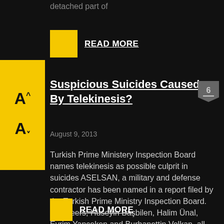detached part of
READ MORE
[Figure (other): Font size controls sidebar with A+ and A- buttons on yellow background]
Suspicious Suicides Caused By Telekinesis?
6
August 9, 2013
Turkish Prime Ministery Inspection Board names telekinesis as possible culprit in suicides ASELSAN, a military and defense contractor has been named in a report filed by the Turkish Prime Ministry Inspection Board. Engineers, Hüseyin Başbilen, Halim Ünal, Evrim Yançeken and Burhanettin Volkan, all employees of ASELSAN were also named in the report. Working on a
READ MORE